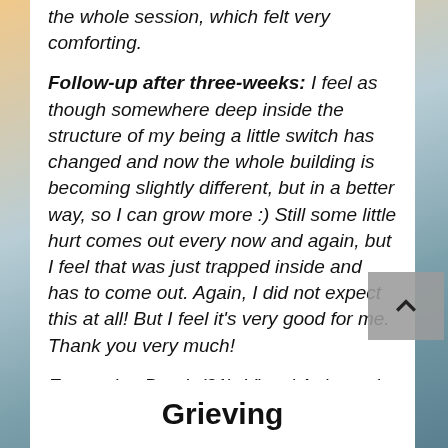the whole session, which felt very comforting.
Follow-up after three-weeks: I feel as though somewhere deep inside the structure of my being a little switch has changed and now the whole building is becoming slightly different, but in a better way, so I can grow more :) Still some little hurt comes out every now and again, but I feel that was just trapped inside and has to come out. Again, I did not expect this at all! But I feel it's very good for me. Thank you very much!
E. van den Broek (31),  Visual Artist and Therapist, Utrecht, The Netherlands
Grieving